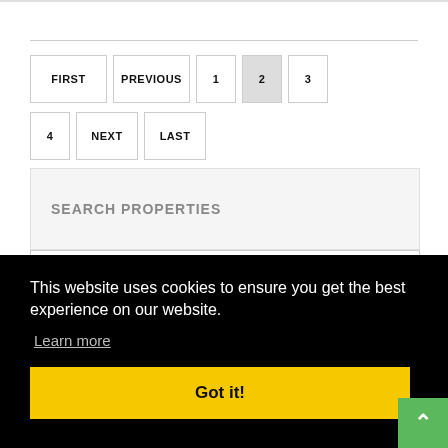Pagination navigation: FIRST, PREVIOUS, 1, 2 (active), 3, 4, NEXT, LAST
SEARCH PROPERTIES
This website uses cookies to ensure you get the best experience on our website.
Learn more
Got it!